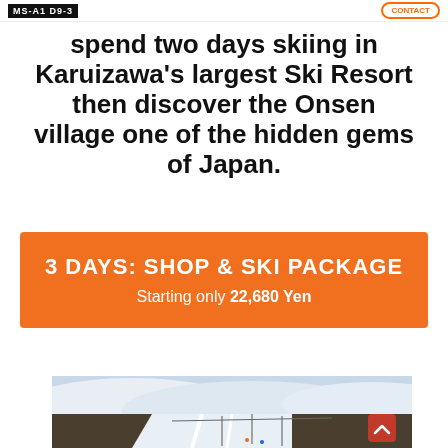MS-A1 D9-3 | Contact
spend two days skiing in Karuizawa's largest Ski Resort then discover the Onsen village one of the hidden gems of Japan.
3 DAYS: SHOP & SKI PACKAGE
Starting only 22,680 Yen
[Figure (photo): Aerial view of a ski resort in Karuizawa with snowy slopes, trees, and ski lifts]